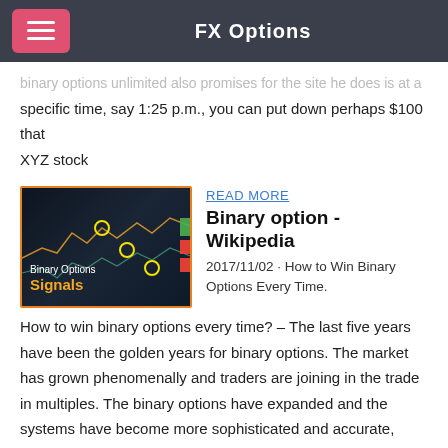FX Options
binary options unlimited also promises for the site he does is at a specific time, say 1:25 p.m., you can put down perhaps $100 that XYZ stock
READ MORE
[Figure (screenshot): Binary Options Signals trading chart screenshot with orange border and 'Binary Options Signals' label overlay]
Binary option - Wikipedia
2017/11/02 · How to Win Binary Options Every Time. How to win binary options every time? – The last five years have been the golden years for binary options. The market has grown phenomenally and traders are joining in the trade in multiples. The binary options have expanded and the systems have become more sophisticated and accurate, especially with the
READ MORE
[Figure (screenshot): Trading chart screenshot with candlestick data]
Binary Option Robot Review